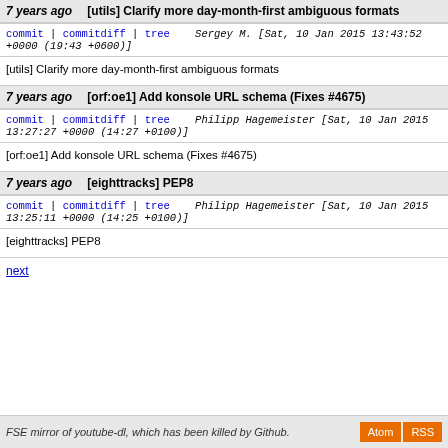7 years ago   [utils] Clarify more day-month-first ambiguous formats
commit | commitdiff | tree   Sergey M. [Sat, 10 Jan 2015 13:43:52 +0000 (19:43 +0600)]
[utils] Clarify more day-month-first ambiguous formats
7 years ago   [orf:oe1] Add konsole URL schema (Fixes #4675)
commit | commitdiff | tree   Philipp Hagemeister [Sat, 10 Jan 2015 13:27:27 +0000 (14:27 +0100)]
[orf:oe1] Add konsole URL schema (Fixes #4675)
7 years ago   [eighttracks] PEP8
commit | commitdiff | tree   Philipp Hagemeister [Sat, 10 Jan 2015 13:25:11 +0000 (14:25 +0100)]
[eighttracks] PEP8
next
FSE mirror of youtube-dl, which has been killed by Github.